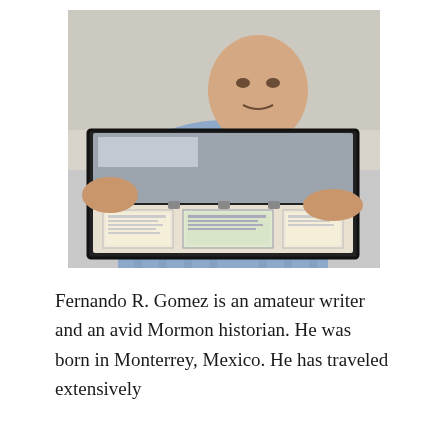[Figure (photo): A man in a blue checkered shirt holds open a glass-lidded display case containing what appear to be documents or artifacts. The man is looking at the camera.]
Fernando R. Gomez is an amateur writer and an avid Mormon historian. He was born in Monterrey, Mexico. He has traveled extensively